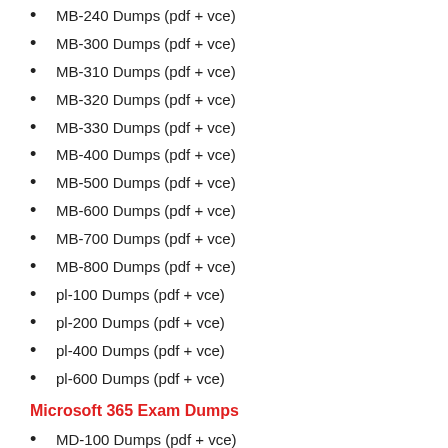MB-240 Dumps (pdf + vce)
MB-300 Dumps (pdf + vce)
MB-310 Dumps (pdf + vce)
MB-320 Dumps (pdf + vce)
MB-330 Dumps (pdf + vce)
MB-400 Dumps (pdf + vce)
MB-500 Dumps (pdf + vce)
MB-600 Dumps (pdf + vce)
MB-700 Dumps (pdf + vce)
MB-800 Dumps (pdf + vce)
pl-100 Dumps (pdf + vce)
pl-200 Dumps (pdf + vce)
pl-400 Dumps (pdf + vce)
pl-600 Dumps (pdf + vce)
Microsoft 365 Exam Dumps
MD-100 Dumps (pdf + vce)
MD-101 Dumps (pdf + vce)
MS-100 Dumps (pdf + vce)
MS-101 Dumps (pdf + vce)
MS-200 Dumps (pdf + vce)